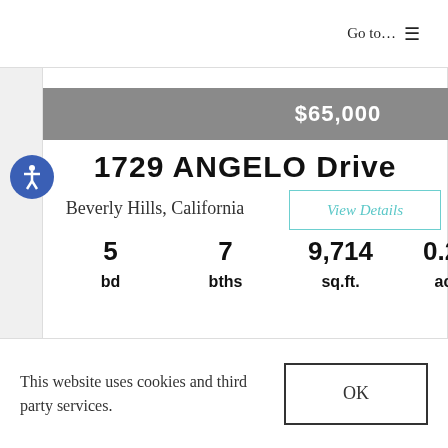Go to… ☰
$65,000
1729 ANGELO Drive
Beverly Hills, California
View Details
5 bd   7 bths   9,714 sq.ft.   0.250 acres
This website uses cookies and third party services.
OK